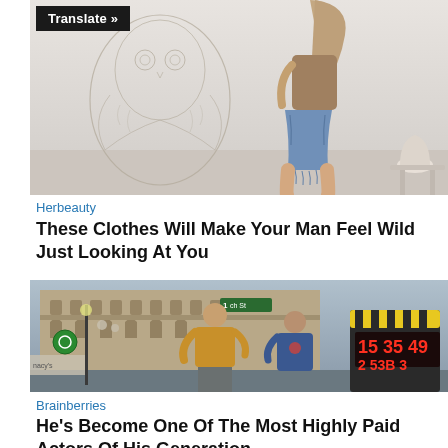[Figure (photo): Woman in denim shorts viewed from behind, standing near a decorative owl-shaped chair against a white background. 'Translate »' button overlay in top-left corner.]
Herbeauty
These Clothes Will Make Your Man Feel Wild Just Looking At You
[Figure (photo): Two men standing on a city street in front of a large ornate building. One man wears a yellow/mustard sweatshirt, the other a blue sweatshirt. A film clapperboard is visible on the right showing 15:35:49 and 2 53B 3.]
Brainberries
He's Become One Of The Most Highly Paid Actors Of His Generation